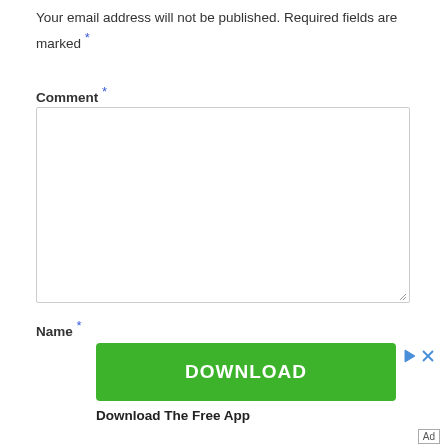Your email address will not be published. Required fields are marked *
Comment *
[Figure (screenshot): Empty textarea input box for comment]
Name *
[Figure (other): Green DOWNLOAD button advertisement with play and close icons, and 'Download The Free App' text below]
Ad